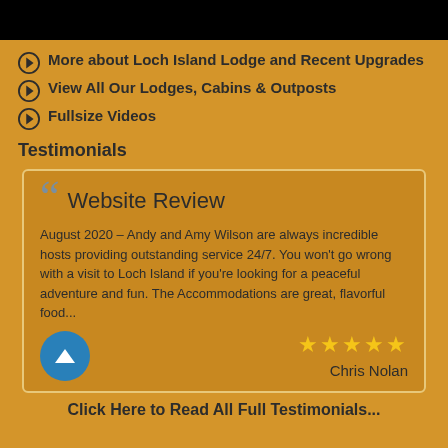[Figure (photo): Black bar at top of page]
More about Loch Island Lodge and Recent Upgrades
View All Our Lodges, Cabins & Outposts
Fullsize Videos
Testimonials
Website Review
August 2020 – Andy and Amy Wilson are always incredible hosts providing outstanding service 24/7. You won't go wrong with a visit to Loch Island if you're looking for a peaceful adventure and fun. The Accommodations are great, flavorful food...
★★★★★
Chris Nolan
Click Here to Read All Full Testimonials...